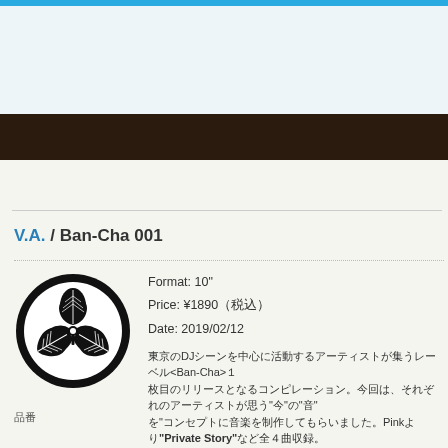V.A. / Ban-Cha 001
[Figure (logo): Circular Japanese mon (family crest) logo featuring three oak leaves arranged in a trefoil pattern inside a thick black circle border]
Format: 10"
Price: ¥1890（税込）
Date: 2019/02/12
東京のDJシーンを中心に活動するアーティストが集うレーベル<Ban-Cha>１枚目のリリースとなるコンピレーション。今回は、それぞれのアーティストが思う"今"の"音"をテーマに音楽を制作してもらいました。Pinkより"Private Story"など全４曲収録。SUPER LTD.より発売。
Tracklist: